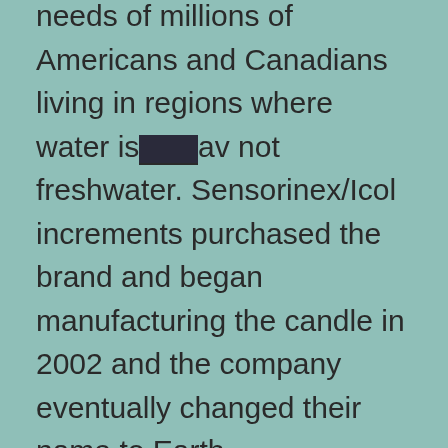needs of millions of Americans and Canadians living in regions where water is [redacted]av not freshwater. Sensorinex/Icol increments purchased the brand and began manufacturing the candle in 2002 and the company eventually changed their name to Earth.
The candle product line includes outdoor lights, bath and shower candles, tabletop, fragrance, table top and neck candles. Outdoor lights were launched in 2000 where your take care of your home and loved ones while you explore nature from your deck, patio or porch. The patio candle line was [redacted] launched in